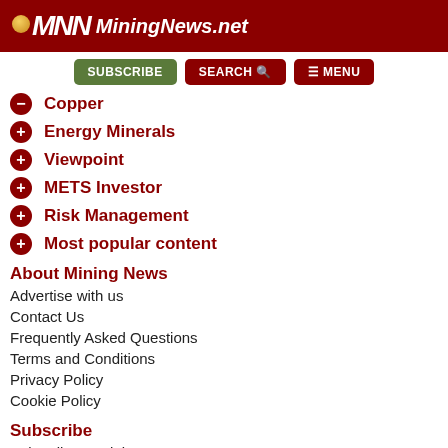[Figure (logo): MiningNews.net logo with red banner, italic MNN letters and coin graphic]
SUBSCRIBE | SEARCH | MENU
Copper
Energy Minerals
Viewpoint
METS Investor
Risk Management
Most popular content
About Mining News
Advertise with us
Contact Us
Frequently Asked Questions
Terms and Conditions
Privacy Policy
Cookie Policy
Subscribe
Subscribe to Mining News